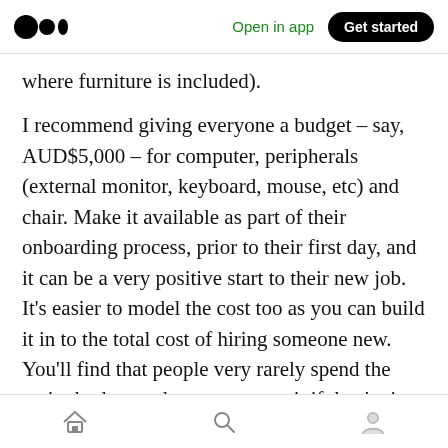Open in app | Get started
where furniture is included).
I recommend giving everyone a budget – say, AUD$5,000 – for computer, peripherals (external monitor, keyboard, mouse, etc) and chair. Make it available as part of their onboarding process, prior to their first day, and it can be a very positive start to their new job. It's easier to model the cost too as you can build it in to the total cost of hiring someone new. You'll find that people very rarely spend the entire budget and never go over it if they're just new to the company, so you should always be under budget on your IT
Home | Search | Profile